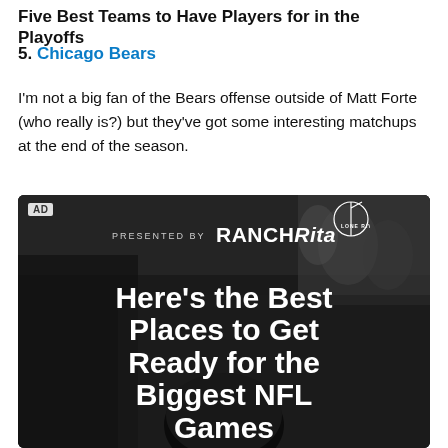Five Best Teams to Have Players for in the Playoffs
5. Chicago Bears
I'm not a big fan of the Bears offense outside of Matt Forte (who really is?) but they've got some interesting matchups at the end of the season.
[Figure (photo): Advertisement image with dark background showing people at a tailgate/NFL event. Text reads 'PRESENTED BY RANCH Rita' and 'Here’s the Best Places to Get Ready for the Biggest NFL Games' with an AD tag in the top left corner.]